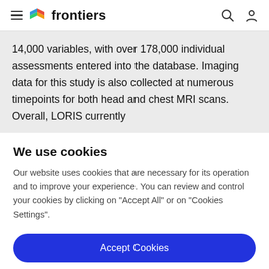frontiers
14,000 variables, with over 178,000 individual assessments entered into the database. Imaging data for this study is also collected at numerous timepoints for both head and chest MRI scans. Overall, LORIS currently
We use cookies
Our website uses cookies that are necessary for its operation and to improve your experience. You can review and control your cookies by clicking on "Accept All" or on "Cookies Settings".
Accept Cookies
Cookies Settings